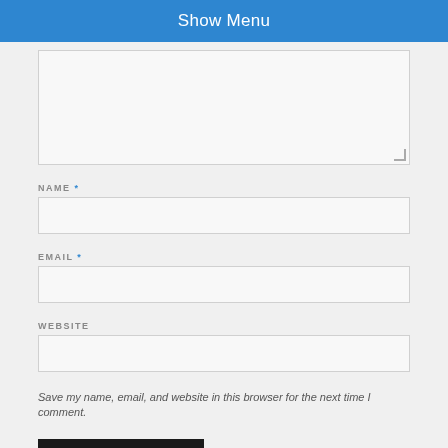Show Menu
[Figure (screenshot): Textarea input field (comment box, partially visible at top)]
NAME *
[Figure (screenshot): Name text input field]
EMAIL *
[Figure (screenshot): Email text input field]
WEBSITE
[Figure (screenshot): Website text input field]
Save my name, email, and website in this browser for the next time I comment.
POST COMMENT